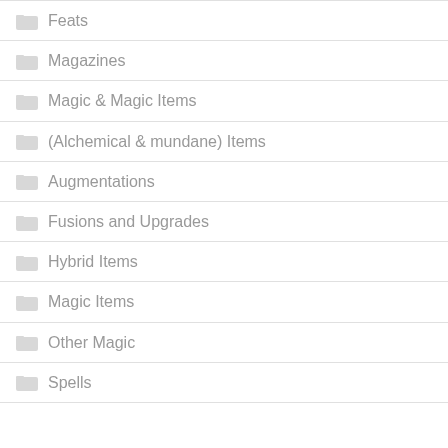Feats
Magazines
Magic & Magic Items
(Alchemical & mundane) Items
Augmentations
Fusions and Upgrades
Hybrid Items
Magic Items
Other Magic
Spells